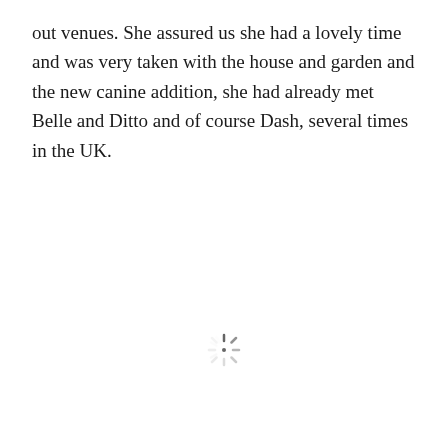out venues. She assured us she had a lovely time and was very taken with the house and garden and the new canine addition, she had already met Belle and Ditto and of course Dash, several times in the UK.
[Figure (other): A loading spinner icon — a circular arrangement of short radial lines in varying shades of gray, indicating a loading state.]